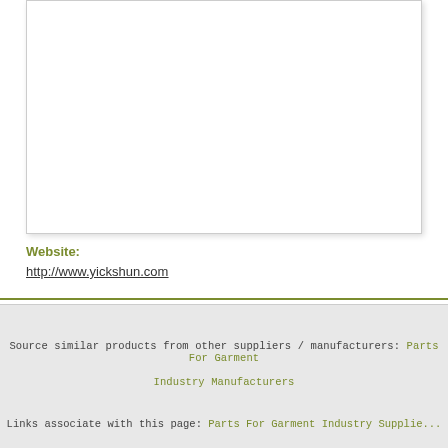[Figure (other): White rectangular box with border and shadow, likely containing a product image]
Website:
http://www.yickshun.com
Source similar products from other suppliers / manufacturers: Parts For Garment Industry Manufacturers
Links associate with this page: Parts For Garment Industry Supplie...